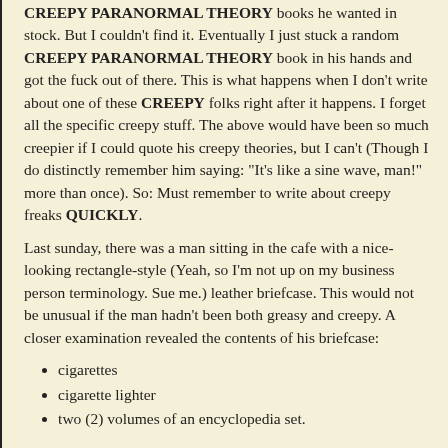CREEPY PARANORMAL THEORY books he wanted in stock. But I couldn't find it. Eventually I just stuck a random CREEPY PARANORMAL THEORY book in his hands and got the fuck out of there. This is what happens when I don't write about one of these CREEPY folks right after it happens. I forget all the specific creepy stuff. The above would have been so much creepier if I could quote his creepy theories, but I can't (Though I do distinctly remember him saying: "It's like a sine wave, man!" more than once). So: Must remember to write about creepy freaks QUICKLY.
Last sunday, there was a man sitting in the cafe with a nice-looking rectangle-style (Yeah, so I'm not up on my business person terminology. Sue me.) leather briefcase. This would not be unusual if the man hadn't been both greasy and creepy. A closer examination revealed the contents of his briefcase:
cigarettes
cigarette lighter
two (2) volumes of an encyclopedia set.